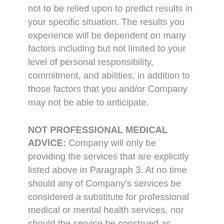not to be relied upon to predict results in your specific situation. The results you experience will be dependent on many factors including but not limited to your level of personal responsibility, commitment, and abilities, in addition to those factors that you and/or Company may not be able to anticipate.
NOT PROFESSIONAL MEDICAL ADVICE: Company will only be providing the services that are explicitly listed above in Paragraph 3. At no time should any of Company's services be considered a substitute for professional medical or mental health services, nor should the service be construed as professional therapy.